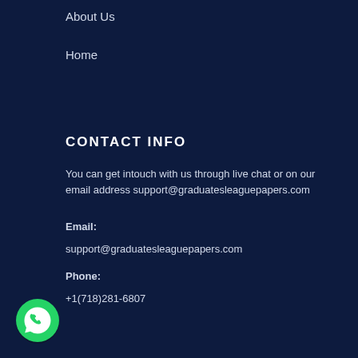About Us
Home
CONTACT INFO
You can get intouch with us through live chat or on our email address support@graduatesleaguepapers.com
Email:
support@graduatesleaguepapers.com
Phone:
+1(718)281-6807
[Figure (logo): WhatsApp logo icon — green circle with white phone handset]